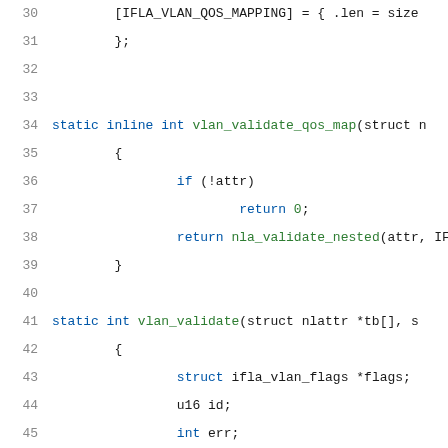[Figure (screenshot): Source code snippet showing C code for vlan QoS map validation and vlan_validate function, lines 30-51, with syntax highlighting in blue and green on white background.]